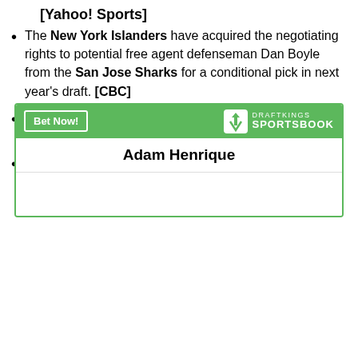[Yahoo! Sports]
The New York Islanders have acquired the negotiating rights to potential free agent defenseman Dan Boyle from the San Jose Sharks for a conditional pick in next year's draft. [CBC]
The 10 best (and 5 worst) logos from the "Simpsons x NHL" series. [Puck Daddy]
Los Angeles Kings ownership group AEG emphatically denied a report on Thursday that the team could be up for sale. [CBS Sports]
[Figure (other): DraftKings Sportsbook betting widget showing player Adam Henrique with a Bet Now! button and DraftKings Sportsbook logo]